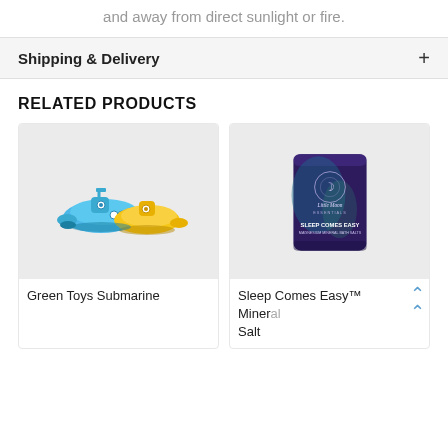and away from direct sunlight or fire.
Shipping & Delivery
RELATED PRODUCTS
[Figure (photo): Two colorful plastic toy submarines, one blue and one yellow, on a light gray background.]
Green Toys Submarine
[Figure (photo): Purple pouch bag labeled 'Little Moon Essentials Sleep Comes Easy Mineral Salt' on a light gray background.]
Sleep Comes Easy™ Mineral Salt